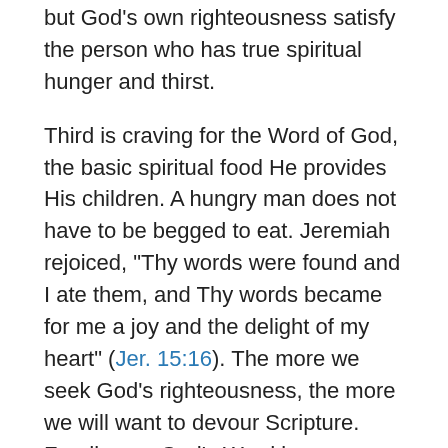but God’s own righteousness satisfy the person who has true spiritual hunger and thirst.
Third is craving for the Word of God, the basic spiritual food He provides His children. A hungry man does not have to be begged to eat. Jeremiah rejoiced, “Thy words were found and I ate them, and Thy words became for me a joy and the delight of my heart” (Jer. 15:16). The more we seek God’s righteousness, the more we will want to devour Scripture. Feeding on God’s Word increases our appetite for it.
Fourth is the pleasantness of the things of God. “To a famished man any bitter thing is sweet” (Prov. 27:7). The believer who seeks God’s righteousness above all other things will find fulfillment and satisfaction even in those things that humanly are disastrous. Thomas Watson